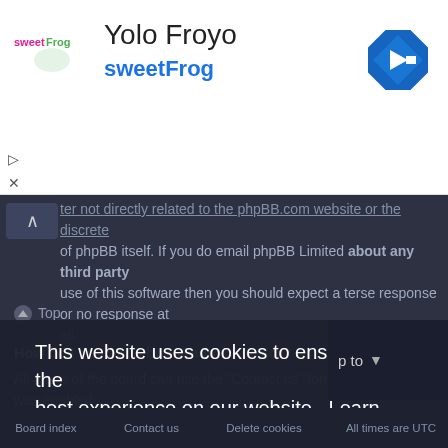[Figure (screenshot): SweetFrog ad banner with logo, title 'Yolo Froyo', subtitle 'sweetFrog', and a blue diamond navigation arrow icon on right]
ter not directly related to the phpBB.com website or the discrete of phpBB itself. If you do email phpBB Limited about any third party use of this software then you should expect a terse response or no response at all.
Top
How do I contact a board administrator?
All users of the board can use the "Contact us" form, if the option was enabled by the board administrator.
Members of the board can also use the "The team" link.
This website uses cookies to ensure you get the best experience on our website. Learn more
Got it!
Board index   Contact us   Delete cookies   All times are UTC